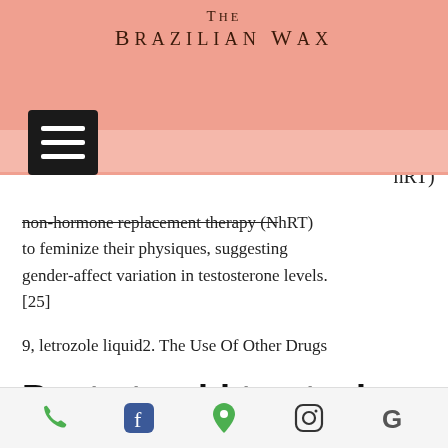The Brazilian Wax
non-hormone replacement therapy (NHRT) to feminize their physiques, suggesting gender-affect variation in testosterone levels. [25]
9, letrozole liquid2. The Use Of Other Drugs
Best steroid to stack with masteron
The best possible positive effect of Masteron not only depends on the training and diet or steroid you mat stack this steroid with, but the dosage and length of the cycle are also
Phone | Facebook | Location | Instagram | Google